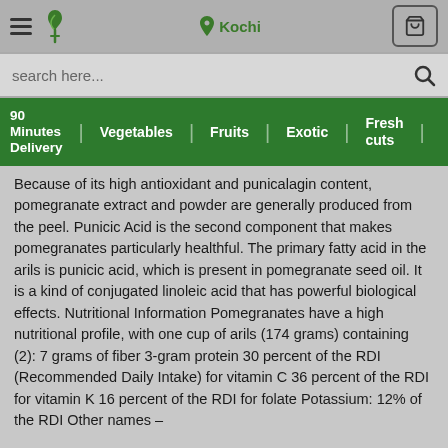Kochi | 90 Minutes Delivery | Vegetables | Fruits | Exotic | Fresh cuts
Because of its high antioxidant and punicalagin content, pomegranate extract and powder are generally produced from the peel. Punicic Acid is the second component that makes pomegranates particularly healthful. The primary fatty acid in the arils is punicic acid, which is present in pomegranate seed oil. It is a kind of conjugated linoleic acid that has powerful biological effects. Nutritional Information Pomegranates have a high nutritional profile, with one cup of arils (174 grams) containing (2): 7 grams of fiber 3-gram protein 30 percent of the RDI (Recommended Daily Intake) for vitamin C 36 percent of the RDI for vitamin K 16 percent of the RDI for folate Potassium: 12% of the RDI Other names –